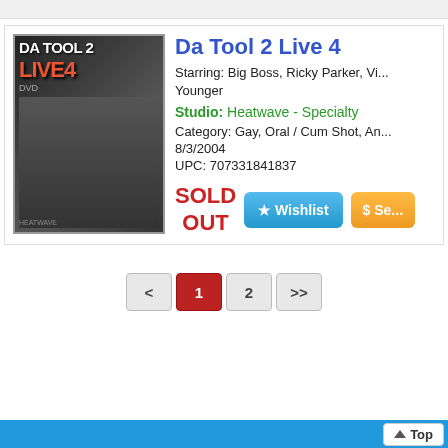[Figure (photo): DVD cover for 'Da Tool 2 Live 4' showing two figures, with red and white title text on dark background]
Da Tool 2 Live 4
Starring: Big Boss, Ricky Parker, Vi... Younger
Studio: Heatwave - Specialty
Category: Gay, Oral / Cum Shot, An...
8/3/2004
UPC: 707331841837
SOLD OUT
Top